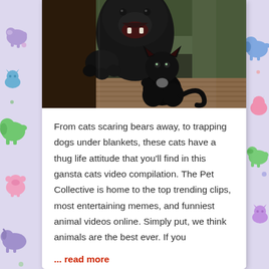[Figure (photo): A black cat facing a large black bear through a glass door. The bear's face is visible pressed against the glass, mouth open. The cat sits calmly in the foreground.]
From cats scaring bears away, to trapping dogs under blankets, these cats have a thug life attitude that you'll find in this gansta cats video compilation. The Pet Collective is home to the top trending clips, most entertaining memes, and funniest animal videos online. Simply put, we think animals are the best ever. If you
... read more